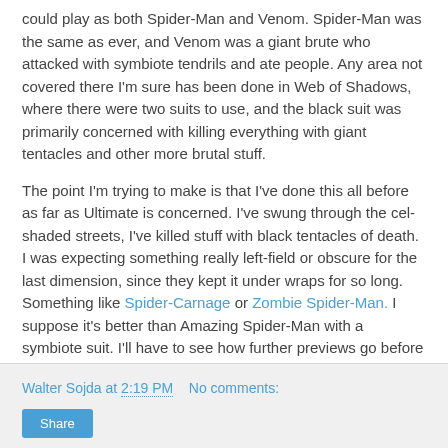could play as both Spider-Man and Venom. Spider-Man was the same as ever, and Venom was a giant brute who attacked with symbiote tendrils and ate people. Any area not covered there I'm sure has been done in Web of Shadows, where there were two suits to use, and the black suit was primarily concerned with killing everything with giant tentacles and other more brutal stuff.
The point I'm trying to make is that I've done this all before as far as Ultimate is concerned. I've swung through the cel-shaded streets, I've killed stuff with black tentacles of death. I was expecting something really left-field or obscure for the last dimension, since they kept it under wraps for so long. Something like Spider-Carnage or Zombie Spider-Man. I suppose it's better than Amazing Spider-Man with a symbiote suit. I'll have to see how further previews go before I'm able to make another judgement.
Walter Sojda at 2:19 PM   No comments:   Share